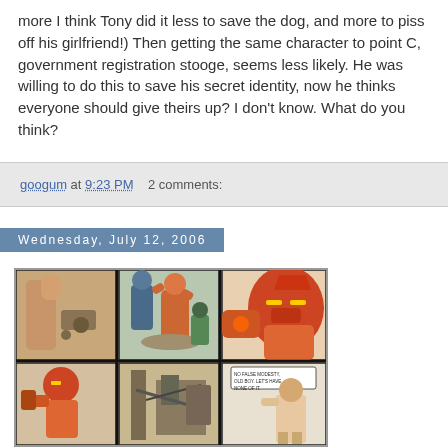more I think Tony did it less to save the dog, and more to piss off his girlfriend!) Then getting the same character to point C, government registration stooge, seems less likely. He was willing to do this to save his secret identity, now he thinks everyone should give theirs up? I don't know. What do you think?
googum at 9:23 PM    2 comments:
Wednesday, July 12, 2006
[Figure (photo): Comic book panels showing superhero characters including Iron Man in orange and red armor, fighting scenes with multiple characters in a classic comic art style.]